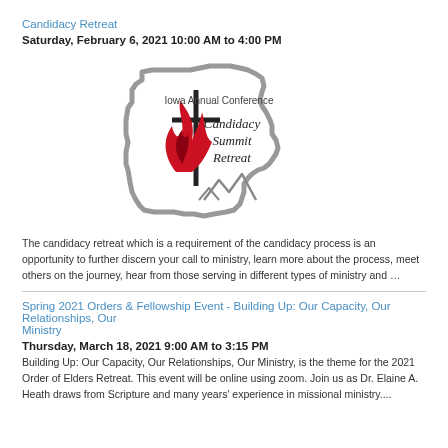Candidacy Retreat
Saturday, February 6, 2021 10:00 AM to 4:00 PM
[Figure (logo): Iowa Annual Conference Candidacy Summit Retreat logo — outline of Iowa state with a cross, flame, and mountain peaks inside]
The candidacy retreat which is a requirement of the candidacy process is an opportunity to further discern your call to ministry, learn more about the process, meet others on the journey, hear from those serving in different types of ministry and …
Spring 2021 Orders & Fellowship Event - Building Up: Our Capacity, Our Relationships, Our Ministry
Thursday, March 18, 2021 9:00 AM to 3:15 PM
Building Up: Our Capacity, Our Relationships, Our Ministry, is the theme for the 2021 Order of Elders Retreat. This event will be online using zoom. Join us as Dr. Elaine A. Heath draws from Scripture and many years' experience in missional ministry....